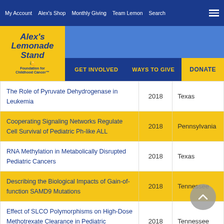My Account | Alex's Shop | Monthly Giving | Team Lemon | Search
[Figure (logo): Alex's Lemonade Stand Foundation for Childhood Cancer logo with navigation: GET INVOLVED, WAYS TO GIVE, DONATE]
| Title | Year | State |
| --- | --- | --- |
| The Role of Pyruvate Dehydrogenase in Leukemia | 2018 | Texas |
| Cooperating Signaling Networks Regulate Cell Survival of Pediatric Ph-like ALL | 2018 | Pennsylvania |
| RNA Methylation in Metabolically Disrupted Pediatric Cancers | 2018 | Texas |
| Describing the Biological Impacts of Gain-of-function SAMD9 Mutations | 2018 | Tennessee |
| Effect of SLCO Polymorphisms on High-Dose Methotrexate Clearance in Pediatric Oncology Patients | 2018 | Tennessee |